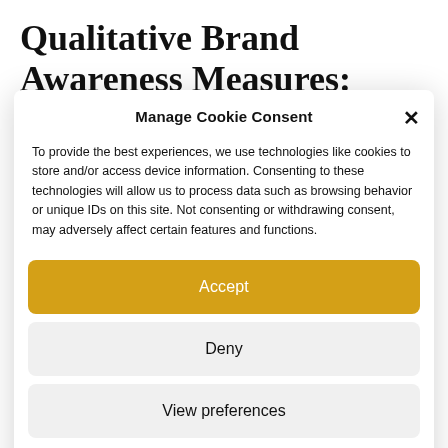Qualitative Brand Awareness Measures:
Manage Cookie Consent
To provide the best experiences, we use technologies like cookies to store and/or access device information. Consenting to these technologies will allow us to process data such as browsing behavior or unique IDs on this site. Not consenting or withdrawing consent, may adversely affect certain features and functions.
Accept
Deny
View preferences
Cookie Policy  Privacy Policy